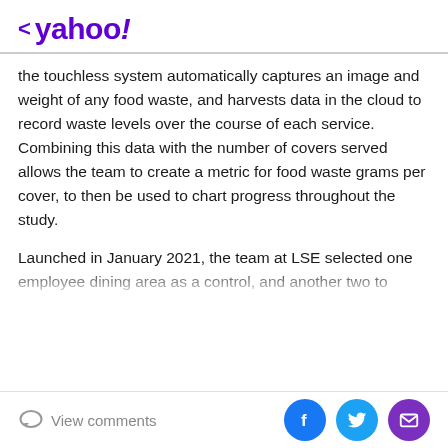< yahoo!
the touchless system automatically captures an image and weight of any food waste, and harvests data in the cloud to record waste levels over the course of each service. Combining this data with the number of covers served allows the team to create a metric for food waste grams per cover, to then be used to chart progress throughout the study.
Launched in January 2021, the team at LSE selected one employee dining area as a control, and another two to introduce communications in the form of posters placed at strategic points around the dining area. All locations were equipped with Winnow Sense units to measure plate waste. The system is designed to be placed either
View comments